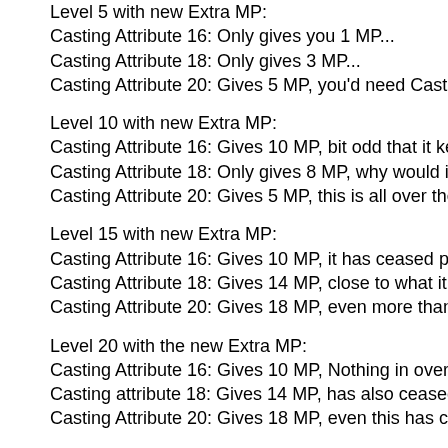Level 5 with new Extra MP:
Casting Attribute 16: Only gives you 1 MP...
Casting Attribute 18: Only gives 3 MP...
Casting Attribute 20: Gives 5 MP, you'd need Casting stat of 20 for it t
Level 10 with new Extra MP:
Casting Attribute 16: Gives 10 MP, bit odd that it keeps up...
Casting Attribute 18: Only gives 8 MP, why would it be weaker for som
Casting Attribute 20: Gives 5 MP, this is all over the place...
Level 15 with new Extra MP:
Casting Attribute 16: Gives 10 MP, it has ceased progression...
Casting Attribute 18: Gives 14 MP, close to what it once did at this lev
Casting Attribute 20: Gives 18 MP, even more than the old feat...
Level 20 with the new Extra MP:
Casting Attribute 16: Gives 10 MP, Nothing in over 10 levels at this po
Casting attribute 18: Gives 14 MP, has also ceased to increase furthe
Casting Attribute 20: Gives 18 MP, even this has ceased...
If your stat is higher, the returns are higher, to the point where people
I only included the lower numbers because, as stated, Extra MP used